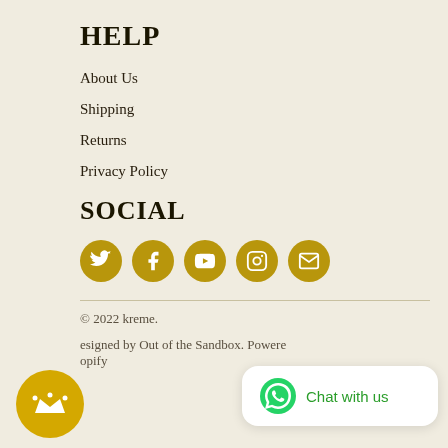HELP
About Us
Shipping
Returns
Privacy Policy
SOCIAL
[Figure (infographic): Five golden circular social media icon buttons: Twitter, Facebook, YouTube, Instagram, Email]
© 2022 kreme.
designed by Out of the Sandbox. Powered by Shopify
[Figure (logo): Golden circle with white crown icon - brand badge]
[Figure (infographic): White chat widget with WhatsApp green phone icon and text 'Chat with us']